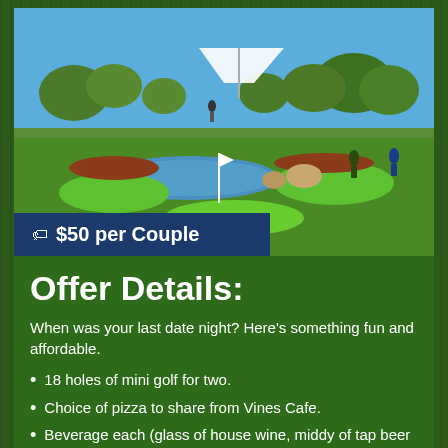[Figure (photo): Outdoor mini golf course with green putting greens, water features, rocks, and trees under a blue sky. A white shade structure is visible in the background with players on the course.]
$50 per Couple
Offer Details:
When was your last date night? Here's something fun and affordable.
18 holes of mini golf for two.
Choice of pizza to share from Vines Cafe.
Beverage each (glass of house wine, middy of tap beer or soft drink)
Available Mon - Fri from 8am-9pm (7.30pm last